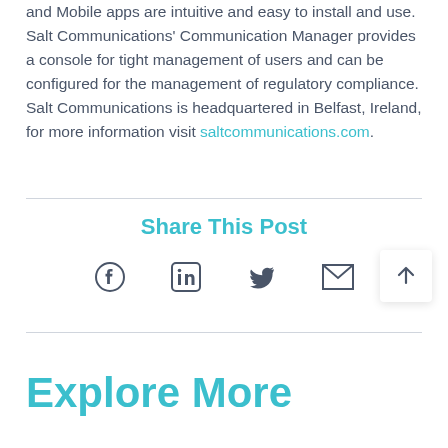and Mobile apps are intuitive and easy to install and use. Salt Communications' Communication Manager provides a console for tight management of users and can be configured for the management of regulatory compliance. Salt Communications is headquartered in Belfast, Ireland, for more information visit saltcommunications.com.
Share This Post
[Figure (infographic): Social sharing icons: Facebook, LinkedIn, Twitter, Email, and scroll-to-top button]
Explore More